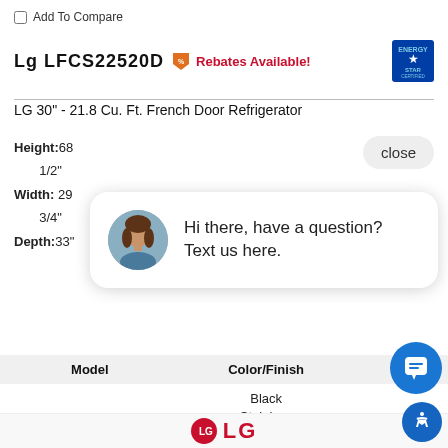Add To Compare
Lg LFCS22520D  Rebates Available!
LG 30" - 21.8 Cu. Ft. French Door Refrigerator
Height:68
1/2"
Width: 29
3/4"
Depth:33"
close
[Figure (other): Chat popup with avatar photo of a woman and text: Hi there, have a question? Text us here.]
| Model | Color/Finish | Price |
| --- | --- | --- |
| LFCS22520D | Black Stainless Steel | .00 |
[Figure (logo): LG brand logo with red circle and LG text]